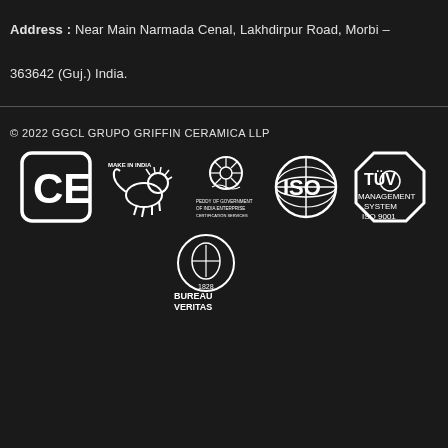Address : Near Main Narmada Cenal, Lakhdirpur Road, Morbi – 363642 (Guj.) India.
© 2022 GGCL GRUPO GRIFFIN CERAMICA LLP
[Figure (logo): CE certification mark logo]
[Figure (logo): Make in India lion logo]
[Figure (logo): Government certification logo with text]
[Figure (logo): ISO globe logo]
[Figure (logo): TÜV ISO 9001 management system octagon logo]
[Figure (logo): Bureau Veritas certification logo]